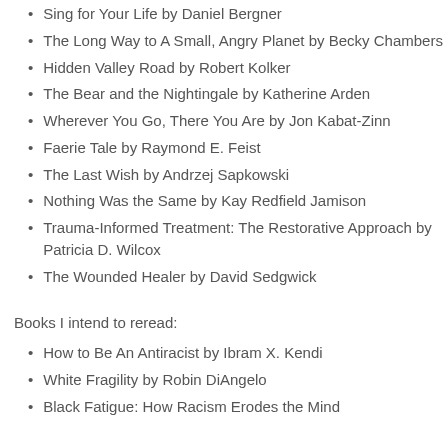Sing for Your Life by Daniel Bergner
The Long Way to A Small, Angry Planet by Becky Chambers
Hidden Valley Road by Robert Kolker
The Bear and the Nightingale by Katherine Arden
Wherever You Go, There You Are by Jon Kabat-Zinn
Faerie Tale by Raymond E. Feist
The Last Wish by Andrzej Sapkowski
Nothing Was the Same by Kay Redfield Jamison
Trauma-Informed Treatment: The Restorative Approach by Patricia D. Wilcox
The Wounded Healer by David Sedgwick
Books I intend to reread:
How to Be An Antiracist by Ibram X. Kendi
White Fragility by Robin DiAngelo
Black Fatigue: How Racism Erodes the Mind